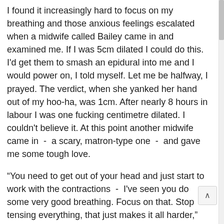I found it increasingly hard to focus on my breathing and those anxious feelings escalated when a midwife called Bailey came in and examined me. If I was 5cm dilated I could do this. I'd get them to smash an epidural into me and I would power on, I told myself. Let me be halfway, I prayed. The verdict, when she yanked her hand out of my hoo-ha, was 1cm. After nearly 8 hours in labour I was one fucking centimetre dilated. I couldn't believe it. At this point another midwife came in - a scary, matron-type one - and gave me some tough love.
“You need to get out of your head and just start to work with the contractions - I've seen you do some very good breathing. Focus on that. Stop tensing everything, that just makes it all harder,” she said, firmly but not unkindly.
Right, yeah, thanks for that.
After an hour or two - I can't remember exactly but it